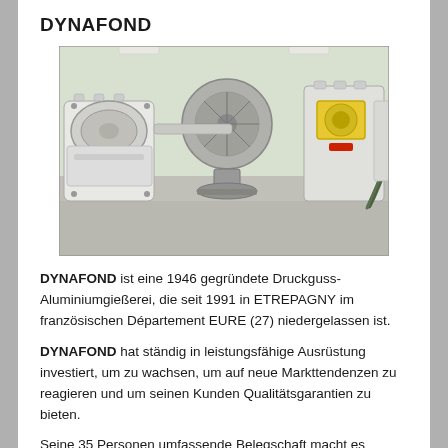DYNAFOND
[Figure (photo): Industrial die-casting aluminum foundry machine with large cylindrical drum/rotor components and mechanical equipment in a white factory setting]
DYNAFOND ist eine 1946 gegründete Druckguss-Aluminiumgießerei, die seit 1991 in ETREPAGNY im französischen Département EURE (27) niedergelassen ist.
DYNAFOND hat ständig in leistungsfähige Ausrüstung investiert, um zu wachsen, um auf neue Markttendenzen zu reagieren und um seinen Kunden Qualitätsgarantien zu bieten.
Seine 35 Personen umfassende Belegschaft macht es möglich, die Dynamik und Reaktionsfähigkeit, wie sie für